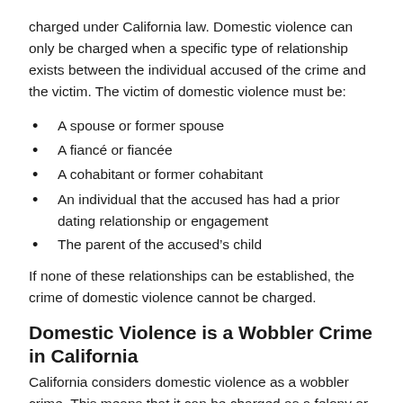charged under California law. Domestic violence can only be charged when a specific type of relationship exists between the individual accused of the crime and the victim. The victim of domestic violence must be:
A spouse or former spouse
A fiancé or fiancée
A cohabitant or former cohabitant
An individual that the accused has had a prior dating relationship or engagement
The parent of the accused's child
If none of these relationships can be established, the crime of domestic violence cannot be charged.
Domestic Violence is a Wobbler Crime in California
California considers domestic violence as a wobbler crime. This means that it can be charged as a felony or a